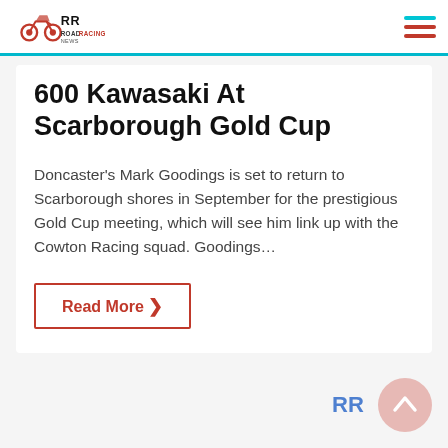Road Racing News
600 Kawasaki At Scarborough Gold Cup
Doncaster's Mark Goodings is set to return to Scarborough shores in September for the prestigious Gold Cup meeting, which will see him link up with the Cowton Racing squad. Goodings…
Read More ›